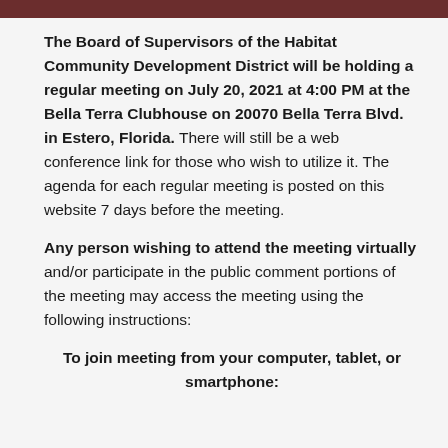The Board of Supervisors of the Habitat Community Development District will be holding a regular meeting on July 20, 2021 at 4:00 PM at the Bella Terra Clubhouse on 20070 Bella Terra Blvd. in Estero, Florida. There will still be a web conference link for those who wish to utilize it. The agenda for each regular meeting is posted on this website 7 days before the meeting.
Any person wishing to attend the meeting virtually and/or participate in the public comment portions of the meeting may access the meeting using the following instructions:
To join meeting from your computer, tablet, or smartphone: